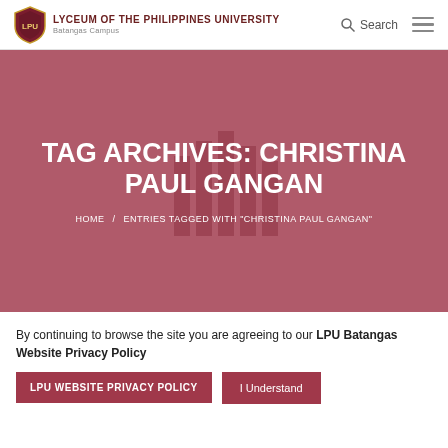LYCEUM OF THE PHILIPPINES UNIVERSITY Batangas Campus | Search
TAG ARCHIVES: CHRISTINA PAUL GANGAN
HOME / ENTRIES TAGGED WITH "CHRISTINA PAUL GANGAN"
By continuing to browse the site you are agreeing to our LPU Batangas Website Privacy Policy
LPU WEBSITE PRIVACY POLICY
I Understand